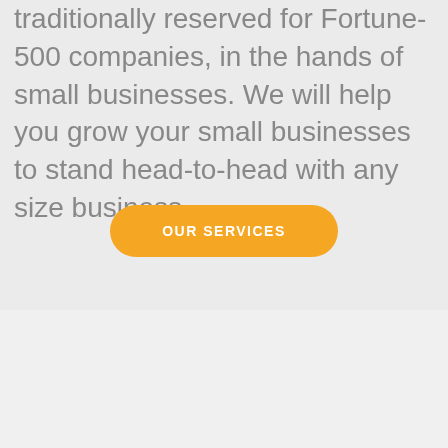traditionally reserved for Fortune-500 companies, in the hands of small businesses. We will help you grow your small businesses to stand head-to-head with any size business.
[Figure (other): Orange rounded rectangle button with white uppercase text reading 'OUR SERVICES']
[Figure (logo): Evans Group Marketing logo: purple rounded square icon with white upward trending arrow/chart symbol, next to bold text 'Evans Group Marketing']